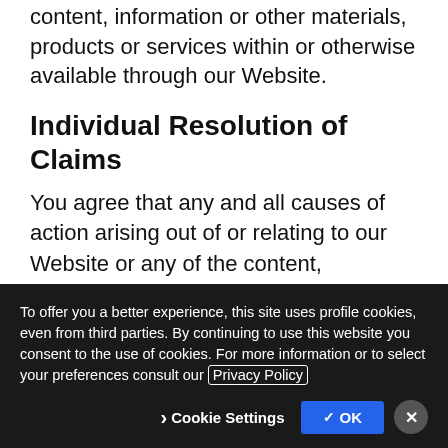content, information or other materials, products or services within or otherwise available through our Website.
Individual Resolution of Claims
You agree that any and all causes of action arising out of or relating to our Website or any of the content, information or other materials, products or services within or otherwise available through our Website shall be resolved individually, WITHOUT RESORT TO ANY FORM OF CLASS ACTION
To offer you a better experience, this site uses profile cookies, even from third parties. By continuing to use this website you consent to the use of cookies. For more information or to select your preferences consult our Privacy Policy
Cookie Settings
✓ OK